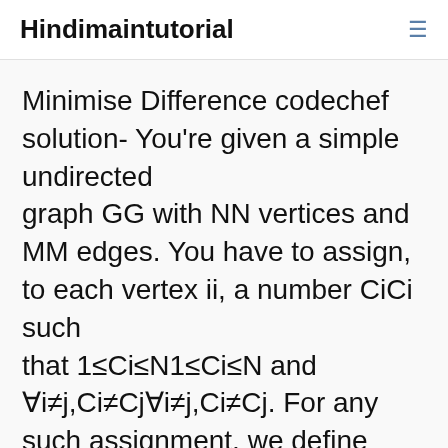Hindimaintutorial
Minimise Difference codechef solution- You're given a simple undirected graph GG with NN vertices and MM edges. You have to assign, to each vertex ii, a number CiCi such that 1≤Ci≤N1≤Ci≤N and ∀i≠j,Ci≠Cj∀i≠j,Ci≠Cj. For any such assignment, we define DiDi to